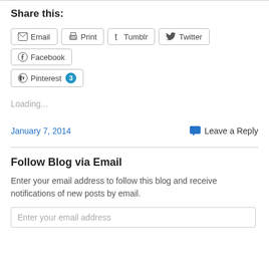Share this:
Email  Print  Tumblr  Twitter  Facebook  Pinterest 3
Loading...
January 7, 2014
Leave a Reply
Follow Blog via Email
Enter your email address to follow this blog and receive notifications of new posts by email.